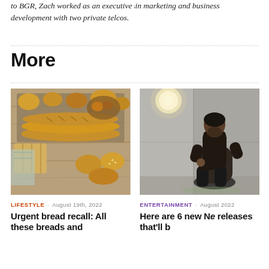to BGR, Zach worked as an executive in marketing and business development with two private telcos.
More
[Figure (photo): Overhead photo of assorted breads and baked goods on a wooden surface — baguettes, rolls, and various loaves arranged on trays and boards.]
LIFESTYLE · August 19th, 2022
Urgent bread recall: All these breads and
[Figure (photo): A person dressed in dark clothing sitting in a chair in a modern, minimalist room with concrete-textured walls and a warm overhead light.]
ENTERTAINMENT · August 2022
Here are 6 new N releases that'll b